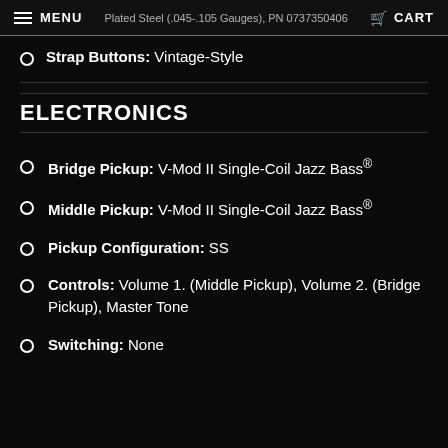MENU | Plated Steel (.045-.105 Gauges), PN 0737350406 | CART
Strap Buttons: Vintage-Style
ELECTRONICS
Bridge Pickup: V-Mod II Single-Coil Jazz Bass®
Middle Pickup: V-Mod II Single-Coil Jazz Bass®
Pickup Configuration: SS
Controls: Volume 1. (Middle Pickup), Volume 2. (Bridge Pickup), Master Tone
Switching: None